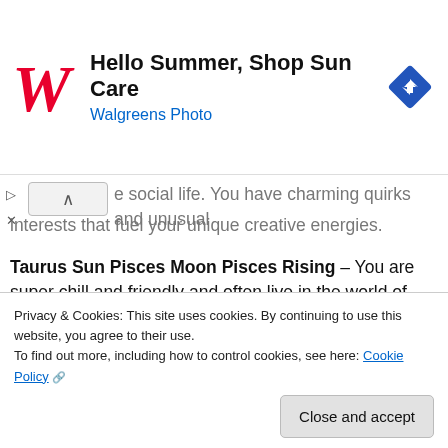[Figure (advertisement): Walgreens ad banner: logo (red cursive W), headline 'Hello Summer, Shop Sun Care', subtext 'Walgreens Photo' in blue, navigation icon (blue diamond with arrow)]
e social life. You have charming quirks and unusual interests that fuel your unique creative energies.
Taurus Sun Pisces Moon Pisces Rising – You are super chill and friendly and often live in the world of your imagination. You display a lot of creativity and an ability to understand and commiserate with others on an intuitive level. Your dreams are vivid and you have a
Privacy & Cookies: This site uses cookies. By continuing to use this website, you agree to their use.
To find out more, including how to control cookies, see here: Cookie Policy